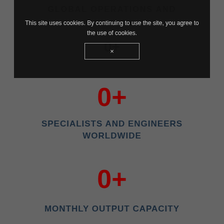GLOBAL OPERATIONS AND DISTRIBUTION
[Figure (screenshot): Cookie consent modal overlay with text 'This site uses cookies. By continuing to use the site, you agree to the use of cookies.' and a dismiss button with 'x']
0+
SPECIALISTS AND ENGINEERS WORLDWIDE
0+
MONTHLY OUTPUT CAPACITY